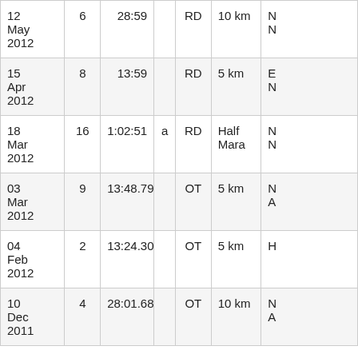| 12 May 2012 | 6 | 28:59 |  | RD | 10 km | N... |
| 15 Apr 2012 | 8 | 13:59 |  | RD | 5 km | E... N... |
| 18 Mar 2012 | 16 | 1:02:51 | a | RD | Half Mara | N... |
| 03 Mar 2012 | 9 | 13:48.79 |  | OT | 5 km | N... A... |
| 04 Feb 2012 | 2 | 13:24.30 |  | OT | 5 km | H... |
| 10 Dec 2011 | 4 | 28:01.68 |  | OT | 10 km | N... A... |